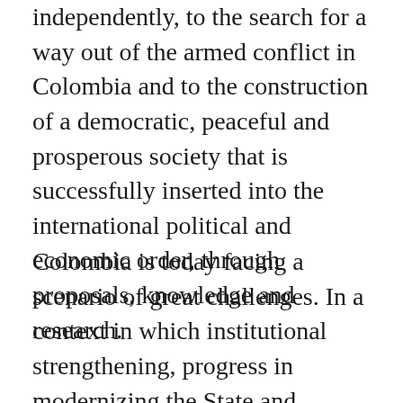independently, to the search for a way out of the armed conflict in Colombia and to the construction of a democratic, peaceful and prosperous society that is successfully inserted into the international political and economic order, through proposals, knowledge and research.
Colombia is today facing a scenario of great challenges. In a context in which institutional strengthening, progress in modernizing the State and economic growth contrast with persistent shortcomings in terms of equity, respect, territorial integration, corruption